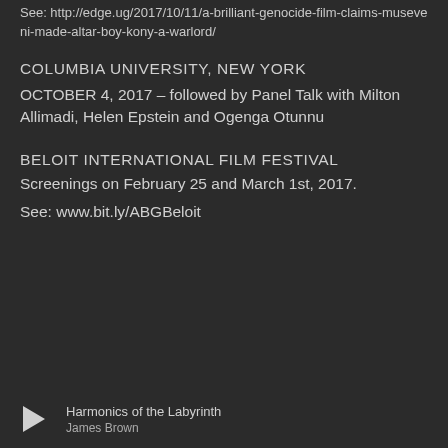See: http://edge.ug/2017/10/11/a-brilliant-genocide-film-claims-museveni-made-altar-boy-kony-a-warlord/
COLUMBIA UNIVERSITY, NEW YORK
OCTOBER 4, 2017 – followed by Panel Talk with Milton Allimadi, Helen Epstein and Ogenga Otunnu
BELOIT INTERNATIONAL FILM FESTIVAL
Screenings on February 25 and March 1st, 2017.
See: www.bit.ly/ABGBeloit
Harmonics of the Labyrinth
James Brown